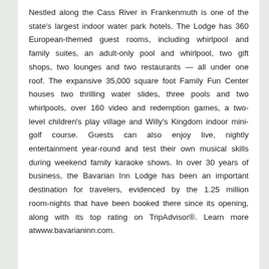Nestled along the Cass River in Frankenmuth is one of the state's largest indoor water park hotels. The Lodge has 360 European-themed guest rooms, including whirlpool and family suites, an adult-only pool and whirlpool, two gift shops, two lounges and two restaurants — all under one roof. The expansive 35,000 square foot Family Fun Center houses two thrilling water slides, three pools and two whirlpools, over 160 video and redemption games, a two-level children's play village and Willy's Kingdom indoor mini-golf course. Guests can also enjoy live, nightly entertainment year-round and test their own musical skills during weekend family karaoke shows. In over 30 years of business, the Bavarian Inn Lodge has been an important destination for travelers, evidenced by the 1.25 million room-nights that have been booked there since its opening, along with its top rating on TripAdvisor®. Learn more atwww.bavarianinn.com.